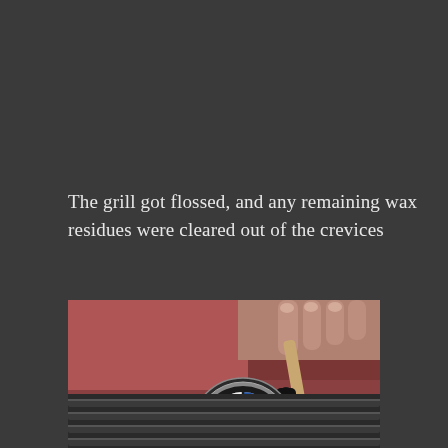The grill got flossed, and any remaining wax residues were cleared out of the crevices
[Figure (photo): A hand holding a brush applying detail work to a BMW hood emblem/badge on a red car. The BMW roundel logo with blue and white quadrants is clearly visible.]
[Figure (photo): Close-up of a BMW front grille from above, with dark slats visible and what appears to be a green detailing brush or cloth at the bottom edge.]